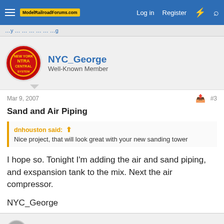ModelRailroadForums.com — Log in  Register
NYC_George
Well-Known Member
Mar 9, 2007  #3
Sand and Air Piping
dnhouston said: Nice project, that will look great with your new sanding tower
I hope so. Tonight I'm adding the air and sand piping, and exspansion tank to the mix. Next the air compressor.

NYC_George